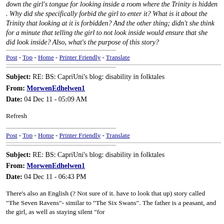down the girl's tongue for looking inside a room where the Trinity is hidden . Why did she specifically forbid the girl to enter it? What is it about the Trinity that looking at it is forbidden? And the other thing; didn't she think for a minute that telling the girl to not look inside would ensure that she did look inside? Also, what's the purpose of this story?
Post - Top - Home - Printer Friendly - Translate
Subject: RE: BS: CapriUni's blog: disability in folktales
From: MorwenEdhelwen1
Date: 04 Dec 11 - 05:09 AM
Refresh
Post - Top - Home - Printer Friendly - Translate
Subject: RE: BS: CapriUni's blog: disability in folktales
From: MorwenEdhelwen1
Date: 04 Dec 11 - 06:43 PM
There's also an English (? Not sure of it. have to look that up) story called "The Seven Ravens"- similar to "The Six Swans". The father is a peasant, and the girl, as well as staying silent "for